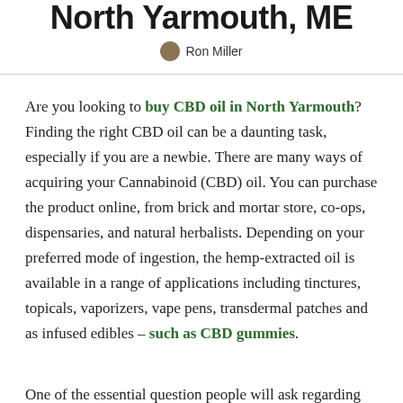North Yarmouth, ME
Ron Miller
Are you looking to buy CBD oil in North Yarmouth? Finding the right CBD oil can be a daunting task, especially if you are a newbie. There are many ways of acquiring your Cannabinoid (CBD) oil. You can purchase the product online, from brick and mortar store, co-ops, dispensaries, and natural herbalists. Depending on your preferred mode of ingestion, the hemp-extracted oil is available in a range of applications including tinctures, topicals, vaporizers, vape pens, transdermal patches and as infused edibles – such as CBD gummies.
One of the essential question people will ask regarding